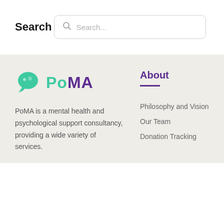Search
[Figure (other): Search input box with magnifying glass icon and placeholder text 'Search...']
[Figure (logo): PoMA logo with green speech bubble icon and purple/green text 'PoMA']
PoMA is a mental health and psychological support consultancy, providing a wide variety of services.
About
Philosophy and Vision
Our Team
Donation Tracking